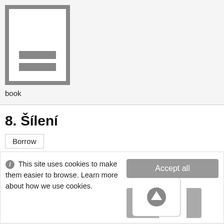[Figure (illustration): Generic book icon: grey square background with white inner page and two grey horizontal lines representing text on the book cover]
book
8. Šílení
Borrow
ⓘ This site uses cookies to make them easier to browse. Learn more about how we use cookies.
[Figure (screenshot): Accept all button (grey rounded rectangle) and a scroll-to-top button (white rounded square with upward arrow, flanked by grey areas)]